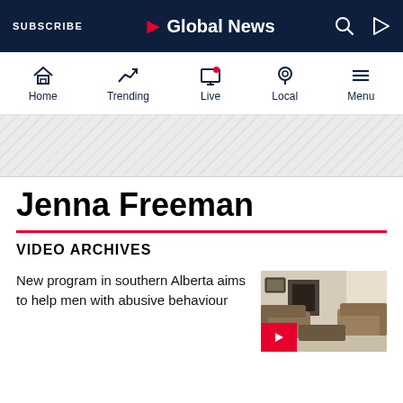SUBSCRIBE | Global News
Home | Trending | Live | Local | Menu
[Figure (other): Ad banner with diagonal stripe pattern]
Jenna Freeman
VIDEO ARCHIVES
New program in southern Alberta aims to help men with abusive behaviour
[Figure (photo): Thumbnail image of a living room with sofas and fireplace, with a red play button overlay]